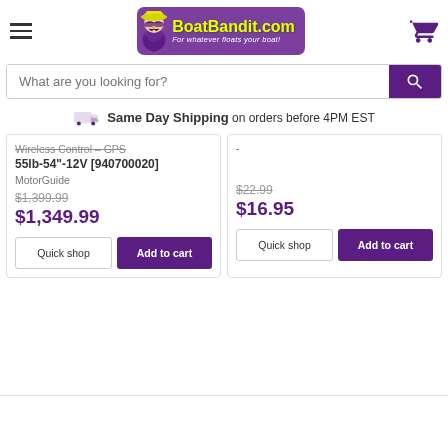[Figure (logo): BoatBandit.com logo with purple mascot bandit character and yellow text on purple background, tagline: For whatever floats your boat!]
What are you looking for?
Same Day Shipping on orders before 4PM EST
Wireless Control – GPS 55lb-54"-12V [940700020]
MotorGuide
$1,399.99
$1,349.99
$22.99
$16.95